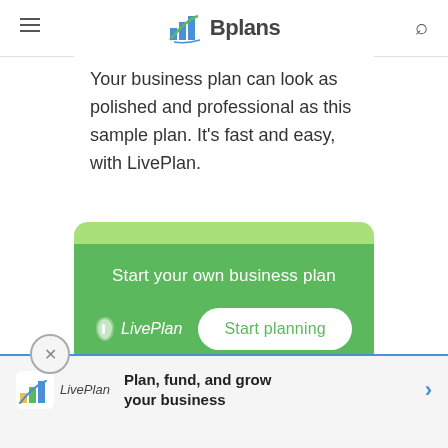Bplans
Your business plan can look as polished and professional as this sample plan. It's fast and easy, with LivePlan.
[Figure (infographic): Green promotional card with 'Start your own business plan' heading, LivePlan logo and 'Start planning' button]
[Figure (infographic): Bottom advertisement banner for LivePlan with 'Plan, fund, and grow your business' text and arrow button]